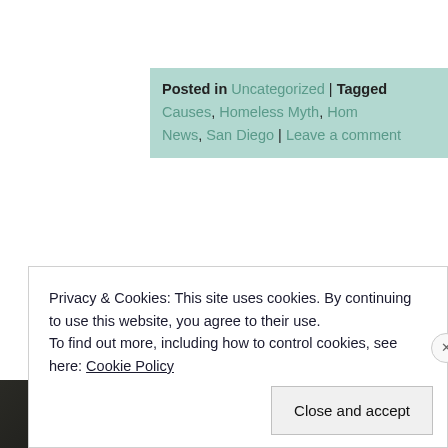Posted in Uncategorized | Tagged Causes, Homeless Myth, Hom... News, San Diego | Leave a comment
[Figure (photo): Dark background image section, appears to be a nighttime or dark photograph]
Privacy & Cookies: This site uses cookies. By continuing to use this website, you agree to their use. To find out more, including how to control cookies, see here: Cookie Policy
Close and accept